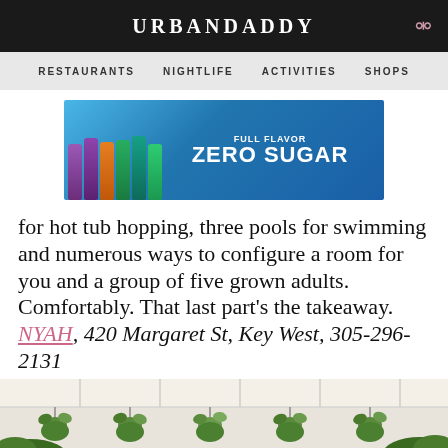URBANDADDY
RESTAURANTS  NIGHTLIFE  ACTIVITIES  SHOPS
[Figure (photo): Monster Energy drink advertisement banner showing multiple cans with text FULL FLAVOR ZERO SUGAR on a blue background]
for hot tub hopping, three pools for swimming and numerous ways to configure a room for you and a group of five grown adults. Comfortably. That last part’s the takeaway.
NYAH, 420 Margaret St, Key West, 305-296-2131
[Figure (photo): Outdoor venue with white tent ceiling and hanging green plant baskets, with tropical foliage visible]